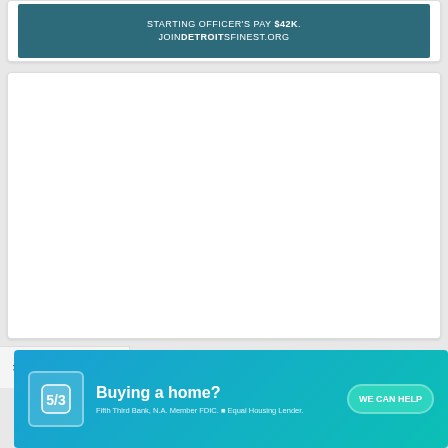[Figure (other): Detroit Police Department recruitment advertisement banner with teal/dark background. Text reads: STARTING OFFICER'S PAY $42K. JOINDETROITSFINEST.ORG]
[Figure (other): Large white empty advertisement card placeholder]
× Hide
[Figure (other): Fifth Third Bank advertisement banner with blue-teal gradient background. Shows bank logo icon on left, text 'Buying a home?' in large bold white text, 'WE CAN HELP' button in teal, and fine print 'Fifth Third Bank, N.A. Member FDIC. Equal Housing Lender.']